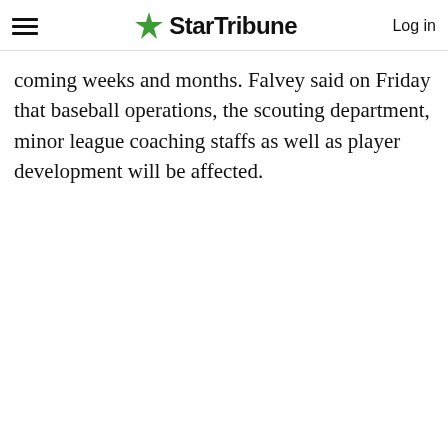StarTribune | Log in
coming weeks and months. Falvey said on Friday that baseball operations, the scouting department, minor league coaching staffs as well as player development will be affected.